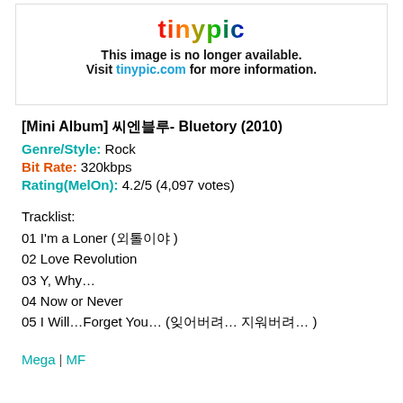[Figure (other): Tinypic placeholder image saying 'This image is no longer available. Visit tinypic.com for more information.']
[Mini Album] 씨엔블루- Bluetory (2010)
Genre/Style: Rock
Bit Rate: 320kbps
Rating(MelOn): 4.2/5 (4,097 votes)
Tracklist:
01 I'm a Loner (외톨이야 )
02 Love Revolution
03 Y, Why…
04 Now or Never
05 I Will…Forget You… (잊어버려… 지워버려… )
Mega | MF